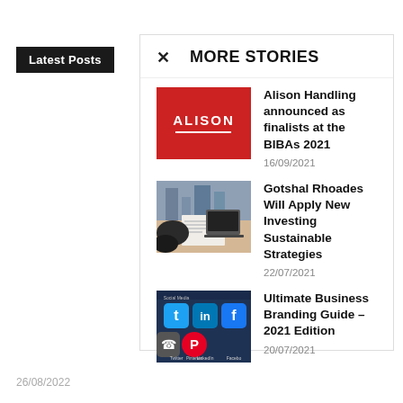Latest Posts
MORE STORIES
Alison Handling announced as finalists at the BIBAs 2021 — 16/09/2021
Gotshal Rhoades Will Apply New Investing Sustainable Strategies — 22/07/2021
Ultimate Business Branding Guide – 2021 Edition — 20/07/2021
26/08/2022